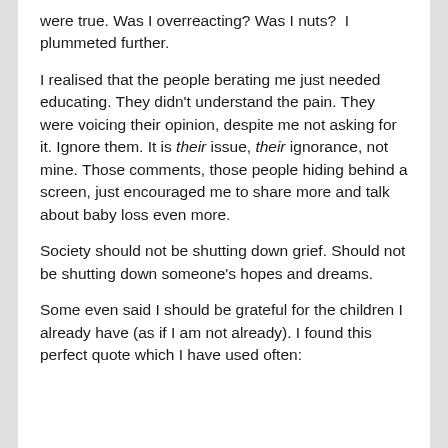were true. Was I overreacting? Was I nuts?  I plummeted further.
I realised that the people berating me just needed educating. They didn't understand the pain. They were voicing their opinion, despite me not asking for it. Ignore them. It is their issue, their ignorance, not mine. Those comments, those people hiding behind a screen, just encouraged me to share more and talk about baby loss even more.
Society should not be shutting down grief. Should not be shutting down someone's hopes and dreams.
Some even said I should be grateful for the children I already have (as if I am not already). I found this perfect quote which I have used often: